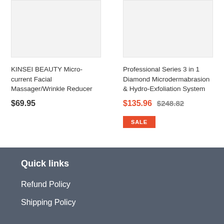[Figure (photo): Product image placeholder for KINSEI BEAUTY Micro-current Facial Massager]
KINSEI BEAUTY Micro-current Facial Massager/Wrinkle Reducer
$69.95
[Figure (photo): Product image placeholder for Professional Series 3 in 1 Diamond Microdermabrasion machine]
Professional Series 3 in 1 Diamond Microdermabrasion & Hydro-Exfoliation System
$135.96 $248.82 SALE
Quick links
Refund Policy
Shipping Policy